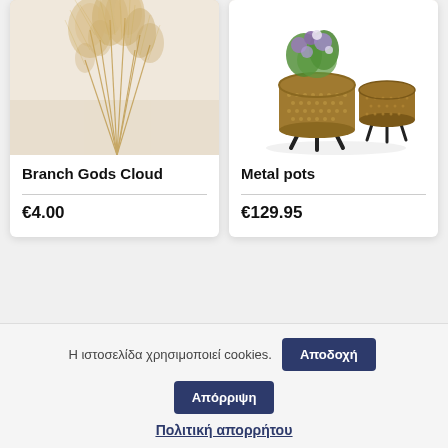[Figure (photo): Pampas grass / Branch Gods Cloud product image — dried golden feathery grass on light background]
Branch Gods Cloud
€4.00
[Figure (photo): Metal pots product image — two gold/bronze metallic pots on black legs with flowers on top]
Metal pots
€129.95
Η ιστοσελίδα χρησιμοποιεί cookies.
Αποδοχή
Απόρριψη
Πολιτική απορρήτου